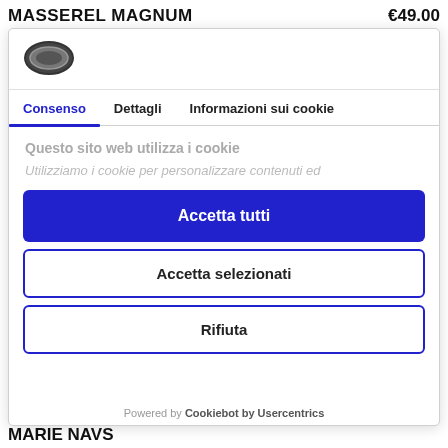MASSEREL MAGNUM   €49.00
[Figure (logo): Cookiebot/Usercentrics logo — stacked cookie/shield icon in dark grey]
Consenso   Dettagli   Informazioni sui cookie
Questo sito web utilizza i cookie
Utilizziamo i cookie per personalizzare contenuti ed
Accetta tutti
Accetta selezionati
Rifiuta
Powered by Cookiebot by Usercentrics
MARIE NAVS